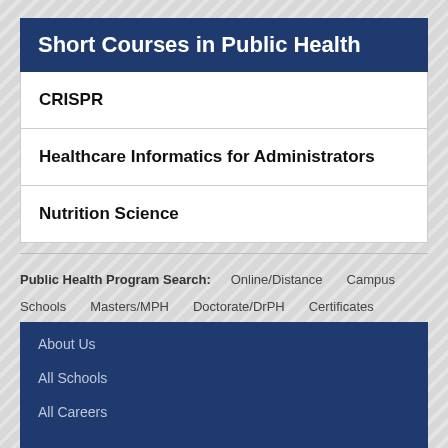Short Courses in Public Health
CRISPR
Healthcare Informatics for Administrators
Nutrition Science
Public Health Program Search: Online/Distance Campus
Schools Masters/MPH Doctorate/DrPH Certificates
About Us
All Schools
All Careers